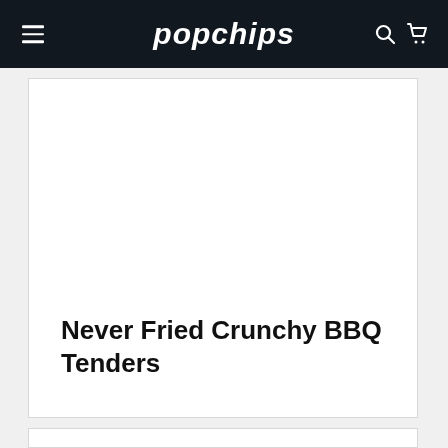popchips
Never Fried Crunchy BBQ Tenders